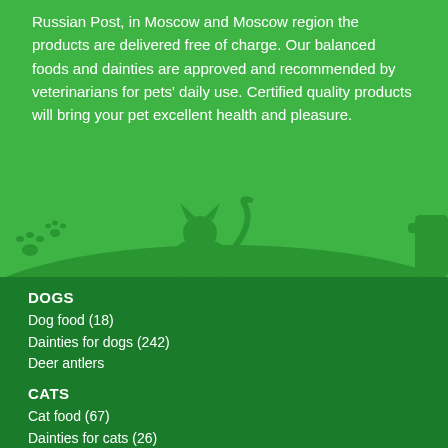Russian Post, in Moscow and Moscow region the products are delivered free of charge. Our balanced foods and dainties are approved and recommended by veterinarians for pets' daily use. Certified quality products will bring your pet excellent health and pleasure.
[Figure (illustration): Silhouette of a cat and paw prints on a green background illustration band]
DOGS
Dog food (18)
Dainties for dogs (242)
Deer antlers
CATS
Cat food (67)
Dainties for cats (26)
Grass for cats (3)
FERRETS